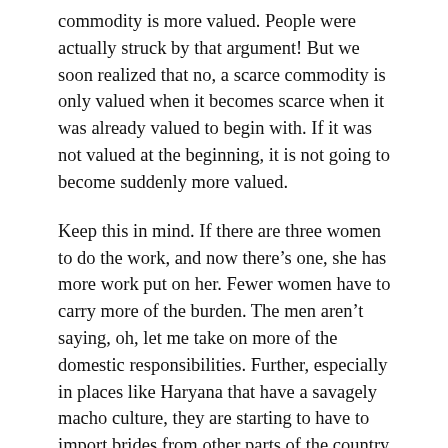commodity is more valued. People were actually struck by that argument! But we soon realized that no, a scarce commodity is only valued when it becomes scarce when it was already valued to begin with. If it was not valued at the beginning, it is not going to become suddenly more valued.
Keep this in mind. If there are three women to do the work, and now there's one, she has more work put on her. Fewer women have to carry more of the burden. The men aren't saying, oh, let me take on more of the domestic responsibilities. Further, especially in places like Haryana that have a savagely macho culture, they are starting to have to import brides from other parts of the country. You can imagine how vulnerable these women are. They're probably poor women from other parts of the country that have limited resources. They know nobody and they may not speak the language. I think that, in some villages, where they really have few women left, people will say